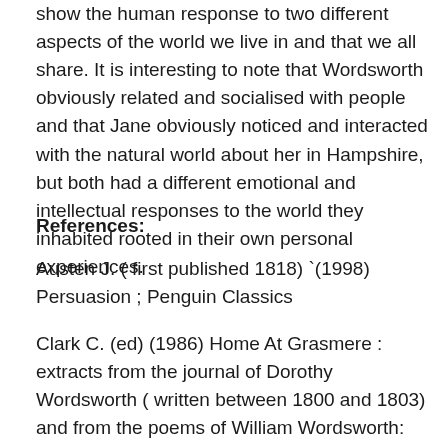directed and concerned them as human beings. They show the human response to two different aspects of the world we live in and that we all share. It is interesting to note that Wordsworth obviously related and socialised with people and that Jane obviously noticed and interacted with the natural world about her in Hampshire, but both had a different emotional and intellectual responses to the world they inhabited rooted in their own personal experiences.
References:
Austen J. ( first published 1818) `(1998) Persuasion ; Penguin Classics
Clark C. (ed) (1986) Home At Grasmere : extracts from the journal of Dorothy Wordsworth ( written between 1800 and 1803) and from the poems of William Wordsworth: Penguin Classics